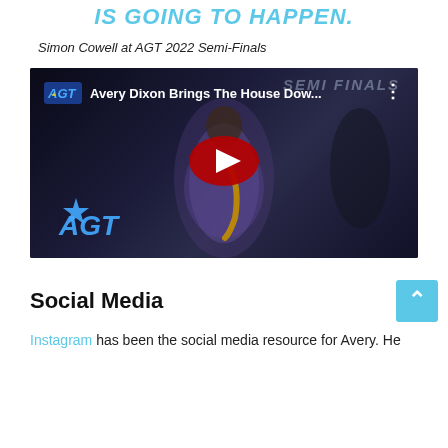IS GOING TO HAPPEN.
Simon Cowell at AGT 2022 Semi-Finals
[Figure (screenshot): YouTube video thumbnail showing Avery Dixon playing saxophone on stage at AGT Semi-Finals, with AGT logo and play button overlay. Video title: Avery Dixon Brings The House Dow...]
Social Media
Instagram has been the social media resource for Avery. He